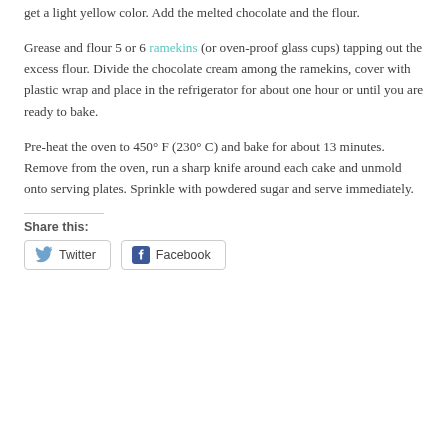get a light yellow color. Add the melted chocolate and the flour.
Grease and flour 5 or 6 ramekins (or oven-proof glass cups) tapping out the excess flour. Divide the chocolate cream among the ramekins, cover with plastic wrap and place in the refrigerator for about one hour or until you are ready to bake.
Pre-heat the oven to 450° F (230° C) and bake for about 13 minutes. Remove from the oven, run a sharp knife around each cake and unmold onto serving plates. Sprinkle with powdered sugar and serve immediately.
Share this:
Twitter  Facebook